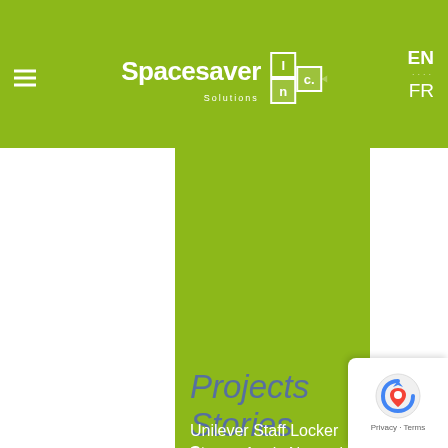Spacesaver Solutions Inc. — EN / FR
Projects Stories
Unilever Staff Locker Storage
Dentsu Aegis Network Staff Lockers
Nestlé Canada Employee Locker Storage
Maple Leaf Sports and Entertainment